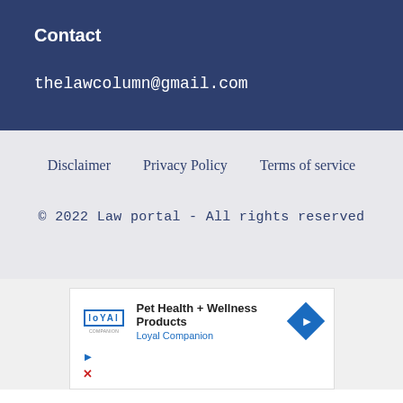Contact
thelawcolumn@gmail.com
Disclaimer    Privacy Policy    Terms of service
© 2022 Law portal - All rights reserved
[Figure (infographic): Advertisement banner for Loyal Companion Pet Health + Wellness Products with logo, text, arrow icon, and play/close controls]